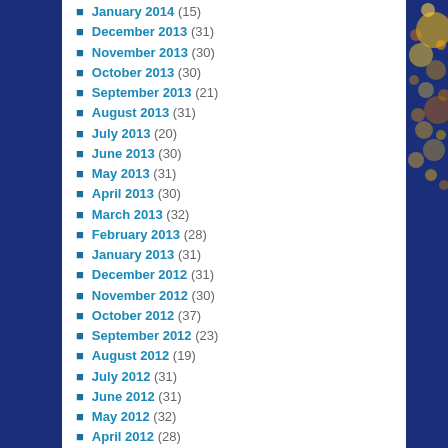January 2014 (15)
December 2013 (31)
November 2013 (30)
October 2013 (30)
September 2013 (21)
August 2013 (31)
July 2013 (20)
June 2013 (30)
May 2013 (31)
April 2013 (30)
March 2013 (32)
February 2013 (28)
January 2013 (31)
December 2012 (31)
November 2012 (30)
October 2012 (37)
September 2012 (23)
August 2012 (19)
July 2012 (31)
June 2012 (31)
May 2012 (32)
April 2012 (28)